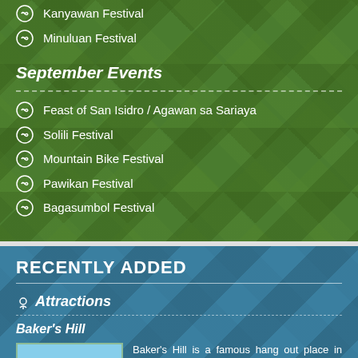Kanyawan Festival
Minuluan Festival
September Events
Feast of San Isidro / Agawan sa Sariaya
Solili Festival
Mountain Bike Festival
Pawikan Festival
Bagasumbol Festival
RECENTLY ADDED
Attractions
Baker's Hill
Baker's Hill is a famous hang out place in Palawan, known for their freshly baked goodies like hopia, munchies and crinkles